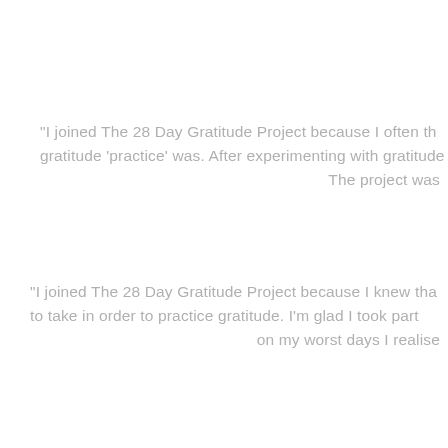“I joined The 28 Day Gratitude Project because I often th gratitude ‘practice’ was. After experimenting with gratitude The project was
“I joined The 28 Day Gratitude Project because I knew tha to take in order to practice gratitude. I’m glad I took part on my worst days I realise